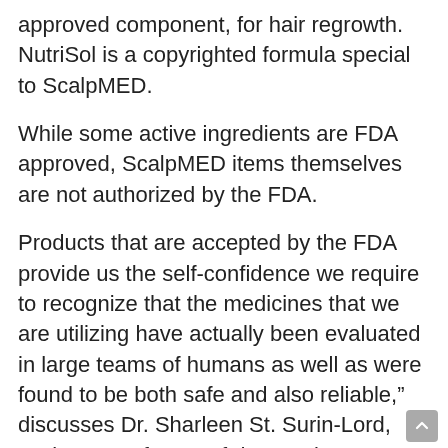approved component, for hair regrowth. NutriSol is a copyrighted formula special to ScalpMED.
While some active ingredients are FDA approved, ScalpMED items themselves are not authorized by the FDA.
Products that are accepted by the FDA provide us the self-confidence we require to recognize that the medicines that we are utilizing have actually been evaluated in large teams of humans as well as were found to be both safe and also reliable,” discusses Dr. Sharleen St. Surin-Lord, assistant professor of dermatology at Howard College College of Medicine.
ScalpMED is among many topical treatment programs for hair loss including FDA-approved, non-prescription minoxidil. What